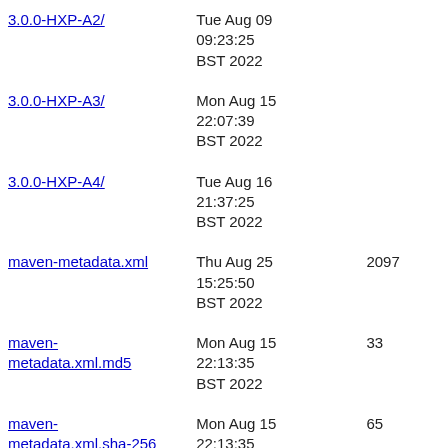| Name | Last Modified | Size |
| --- | --- | --- |
| 3.0.0-HXP-A2/ | Tue Aug 09 09:23:25 BST 2022 |  |
| 3.0.0-HXP-A3/ | Mon Aug 15 22:07:39 BST 2022 |  |
| 3.0.0-HXP-A4/ | Tue Aug 16 21:37:25 BST 2022 |  |
| maven-metadata.xml | Thu Aug 25 15:25:50 BST 2022 | 2097 |
| maven-metadata.xml.md5 | Mon Aug 15 22:13:35 BST 2022 | 33 |
| maven-metadata.xml.sha-256 | Mon Aug 15 22:13:35 BST 2022 | 65 |
| maven-metadata.xml.sha-512 | Mon Aug 15 22:13:35 BST 2022 | 129 |